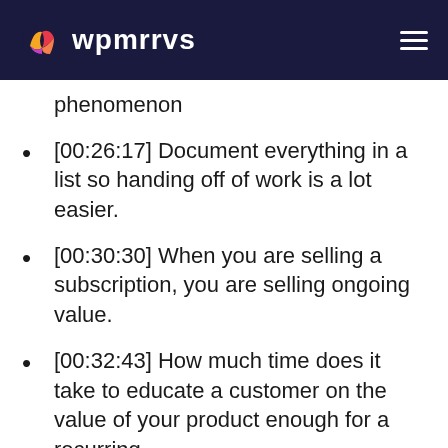wpmrrvs
phenomenon
[00:26:17] Document everything in a list so handing off of work is a lot easier.
[00:30:30] When you are selling a subscription, you are selling ongoing value.
[00:32:43] How much time does it take to educate a customer on the value of your product enough for a recurring